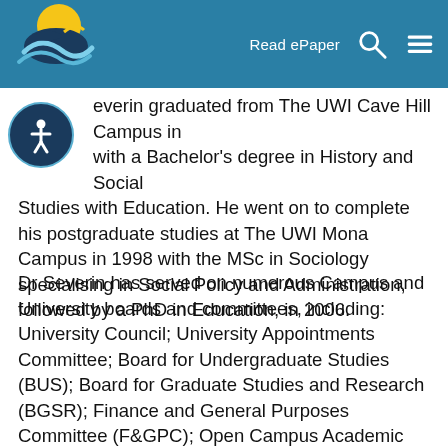Read ePaper
everin graduated from The UWI Cave Hill Campus in with a Bachelor's degree in History and Social Studies with Education. He went on to complete his postgraduate studies at The UWI Mona Campus in 1998 with the MSc in Sociology specialising in Social Policy and Administration, followed by a PhD in Education, in 2006.
Dr Severin has served on numerous Campus and University boards and committees, including: University Council; University Appointments Committee; Board for Undergraduate Studies (BUS); Board for Graduate Studies and Research (BGSR); Finance and General Purposes Committee (F&GPC); Open Campus Academic Board; Senate Committee on Ordinances and Regulations (SCOR); Campus Evaluations & Promotions Committee (EPC); Campus Appointments Committee (CAC); University Research and ICT Steering Committees